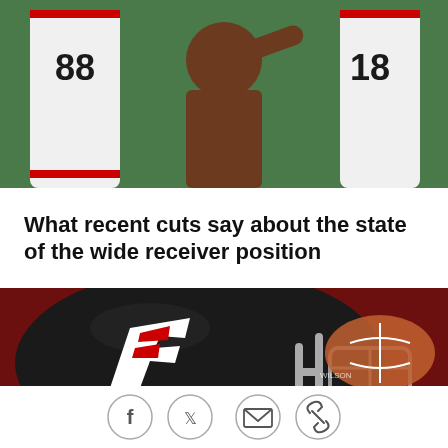[Figure (photo): NFL players in white and red uniforms shaking hands or interacting on a green field]
What recent cuts say about the state of the wide receiver position
[Figure (photo): Close-up of an Atlanta Falcons black helmet with the Falcons logo, with a football visible in the background on a red surface]
[Figure (infographic): Social sharing icons: Facebook, Twitter, Email, and Link]